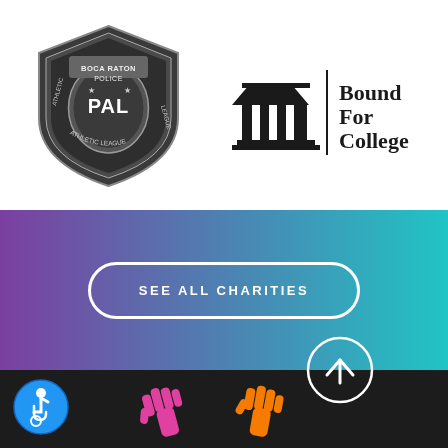[Figure (logo): Boca Raton Police Athletic League badge logo - dark grey shield with PAL text]
[Figure (logo): Bound For College logo - black column/building icon with vertical divider and text 'Bound For College']
[Figure (infographic): Purple to teal gradient banner with 'SEE ALL CHARITIES' button]
[Figure (infographic): Dark background footer section with scroll-to-top arrow button, accessibility icon, and colorful hand illustrations]